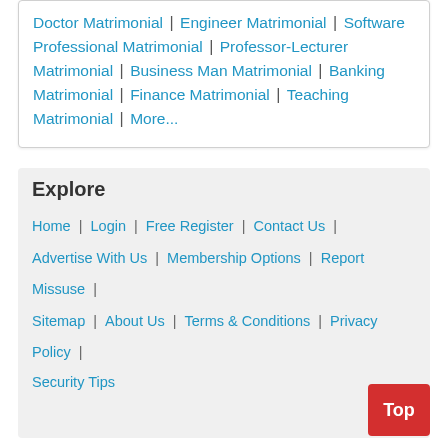Doctor Matrimonial | Engineer Matrimonial | Software Professional Matrimonial | Professor-Lecturer Matrimonial | Business Man Matrimonial | Banking Matrimonial | Finance Matrimonial | Teaching Matrimonial | More...
Explore
Home | Login | Free Register | Contact Us |
Advertise With Us | Membership Options | Report Missuse |
Sitemap | About Us | Terms & Conditions | Privacy Policy | Security Tips
Brides / Female / Girls by Caste / Hindu Community - Nagapattinam Tamil Matrimony
Hindu AdiDravidar
Hindu Agamudayar
Hindu Brahmin